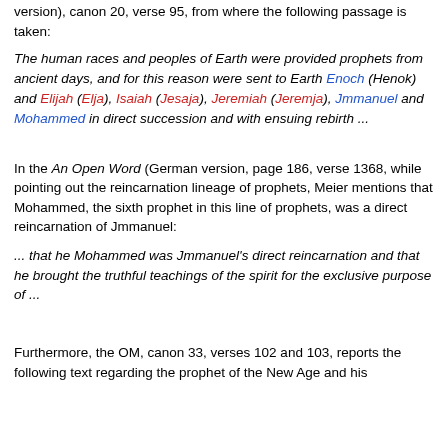version), canon 20, verse 95, from where the following passage is taken:
The human races and peoples of Earth were provided prophets from ancient days, and for this reason were sent to Earth Enoch (Henok) and Elijah (Elja), Isaiah (Jesaja), Jeremiah (Jeremja), Jmmanuel and Mohammed in direct succession and with ensuing rebirth ...
In the An Open Word (German version, page 186, verse 1368, while pointing out the reincarnation lineage of prophets, Meier mentions that Mohammed, the sixth prophet in this line of prophets, was a direct reincarnation of Jmmanuel:
... that he Mohammed was Jmmanuel's direct reincarnation and that he brought the truthful teachings of the spirit for the exclusive purpose of ...
Furthermore, the OM, canon 33, verses 102 and 103, reports the following text regarding the prophet of the New Age and his